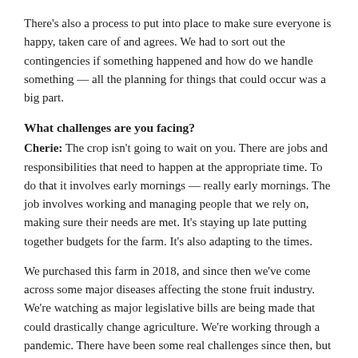There's also a process to put into place to make sure everyone is happy, taken care of and agrees. We had to sort out the contingencies if something happened and how do we handle something — all the planning for things that could occur was a big part.
What challenges are you facing?
Cherie: The crop isn't going to wait on you. There are jobs and responsibilities that need to happen at the appropriate time. To do that it involves early mornings — really early mornings. The job involves working and managing people that we rely on, making sure their needs are met. It's staying up late putting together budgets for the farm. It's also adapting to the times.
We purchased this farm in 2018, and since then we've come across some major diseases affecting the stone fruit industry. We're watching as major legislative bills are being made that could drastically change agriculture. We're working through a pandemic. There have been some real challenges since then, but you don't get to take a time-out, you have to just keep moving forward.
Danae: Facing those challenges isn't new — we've seen that